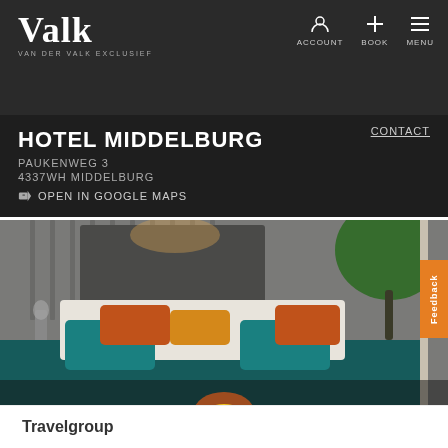Valk VAN DER VALK EXCLUSIEF | ACCOUNT | BOOK | MENU
HOTEL MIDDELBURG
PAUKENWEG 3
4337WH MIDDELBURG
OPEN IN GOOGLE MAPS
CONTACT
[Figure (photo): Hotel room with teal/teal bed coverlet, orange and teal decorative pillows, grey paneled headboard wall with warm lighting, green tropical plant in corner. Split view showing two identical bed scenes side by side.]
Feedback
Travelgroup